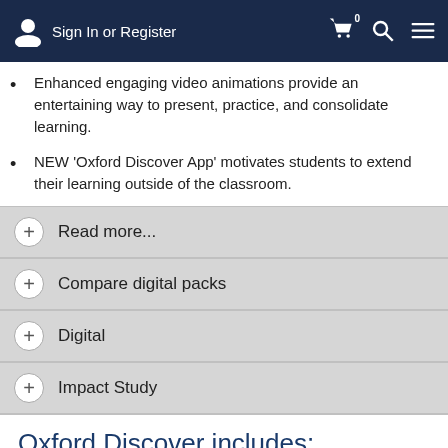Sign In or Register
Enhanced engaging video animations provide an entertaining way to present, practice, and consolidate learning.
NEW 'Oxford Discover App' motivates students to extend their learning outside of the classroom.
Read more...
Compare digital packs
Digital
Impact Study
Oxford Discover includes:
Level 1